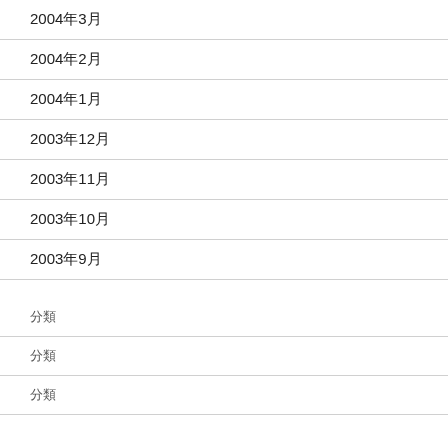2004年3月
2004年2月
2004年1月
2003年12月
2003年11月
2003年10月
2003年9月
分類
分類
分類